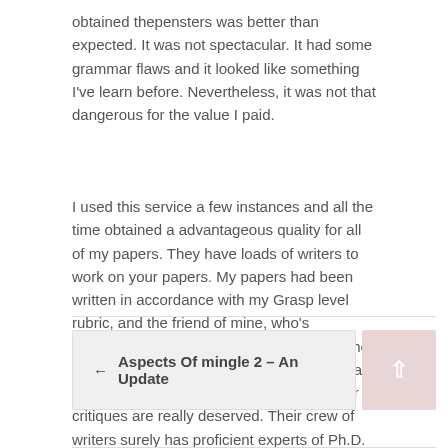obtained thepensters was better than expected. It was not spectacular. It had some grammar flaws and it looked like something I've learn before. Nevertheless, it was not that dangerous for the value I paid.
I used this service a few instances and all the time obtained a advantageous quality for all of my papers. They have loads of writers to work on your papers. My papers had been written in accordance with my Grasp level rubric, and the friend of mine, who's thepensters a professor, accepted it from the first shot. Needless to say that it was a great experience. I can say that the speedypaper critiques are really deserved. Their crew of writers surely has proficient experts of Ph.D. and MA grade ranges.
← Aspects Of mingle 2 – An Update